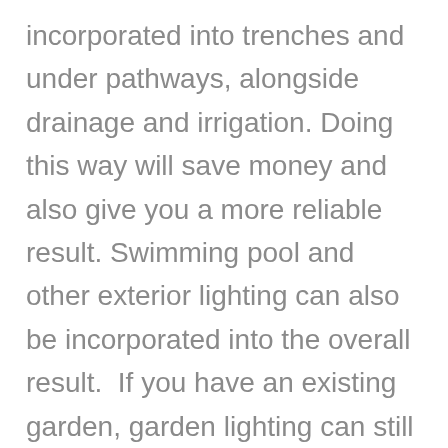incorporated into trenches and under pathways, alongside drainage and irrigation. Doing this way will save money and also give you a more reliable result. Swimming pool and other exterior lighting can also be incorporated into the overall result.  If you have an existing garden, garden lighting can still be added using some of the new trenching techniques available. Great care needs to be taken however, not to disturb existing irrigation systems.